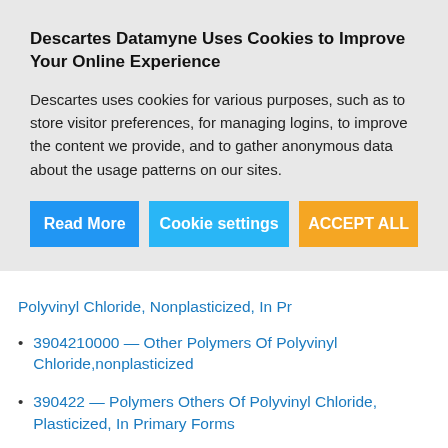Descartes Datamyne Uses Cookies to Improve Your Online Experience
Descartes uses cookies for various purposes, such as to store visitor preferences, for managing logins, to improve the content we provide, and to gather anonymous data about the usage patterns on our sites.
Read More | Cookie settings | ACCEPT ALL
Polyvinyl Chloride, Nonplasticized, In Pr
3904210000 — Other Polymers Of Polyvinyl Chloride,nonplasticized
390422 — Polymers Others Of Polyvinyl Chloride, Plasticized, In Primary Forms
39042200 — Polymers Others Of Polyvinyl Chloride, Plasticized, In Prima
3904220000 — Other Polymers Of Polyvinyl Chloride,plasticized